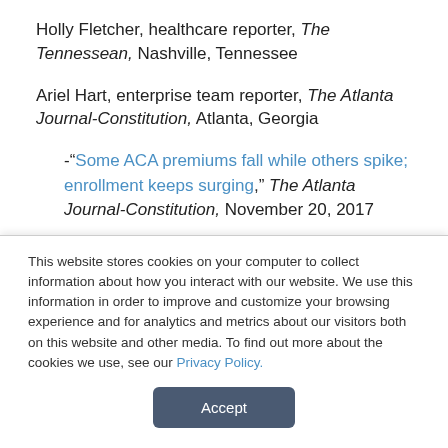Holly Fletcher, healthcare reporter, The Tennessean, Nashville, Tennessee
Ariel Hart, enterprise team reporter, The Atlanta Journal-Constitution, Atlanta, Georgia
-“Some ACA premiums fall while others spike; enrollment keeps surging,” The Atlanta Journal-Constitution, November 20, 2017
Stephanie Innes, health reporter, Arizona Daily Star,
This website stores cookies on your computer to collect information about how you interact with our website. We use this information in order to improve and customize your browsing experience and for analytics and metrics about our visitors both on this website and other media. To find out more about the cookies we use, see our Privacy Policy.
Accept